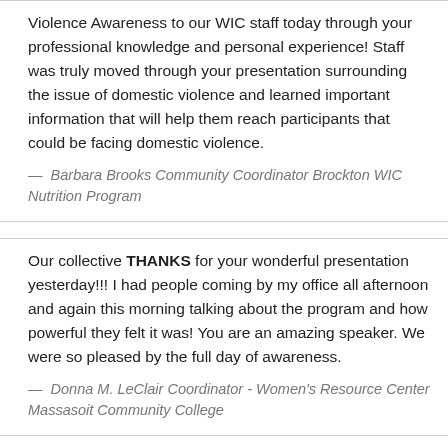Violence Awareness to our WIC staff today through your professional knowledge and personal experience! Staff was truly moved through your presentation surrounding the issue of domestic violence and learned important information that will help them reach participants that could be facing domestic violence.
— Barbara Brooks Community Coordinator Brockton WIC Nutrition Program
Our collective THANKS for your wonderful presentation yesterday!!! I had people coming by my office all afternoon and again this morning talking about the program and how powerful they felt it was! You are an amazing speaker. We were so pleased by the full day of awareness.
— Donna M. LeClair Coordinator - Women's Resource Center Massasoit Community College